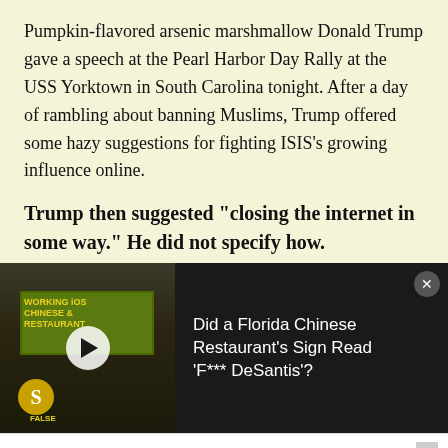Pumpkin-flavored arsenic marshmallow Donald Trump gave a speech at the Pearl Harbor Day Rally at the USS Yorktown in South Carolina tonight. After a day of rambling about banning Muslims, Trump offered some hazy suggestions for fighting ISIS’s growing influence online.
Trump then suggested “closing the internet in some way.” He did not specify how.
[Figure (screenshot): Video thumbnail showing a Chinese restaurant sign with yellow text on green background. Snopes logo (golden S) visible bottom left. White play button in center.]
Did a Florida Chinese Restaurant’s Sign Read ‘F*** DeSantis’?
Background Check:  Investigating George Floyd’s Criminal Record